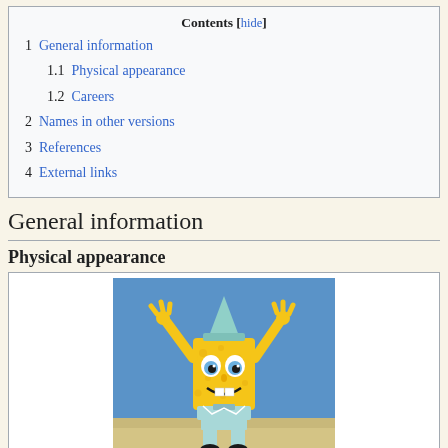| Contents |
| --- |
| 1 General information |
| 1.1 Physical appearance |
| 1.2 Careers |
| 2 Names in other versions |
| 3 References |
| 4 External links |
General information
Physical appearance
[Figure (illustration): SpongeBob SquarePants character illustration in nightgear, arms raised, on sandy beach background with blue sky]
SpongeBob in his nightgear.
SpongeBob is an anthropomorphic sea sponge, although he resembles a